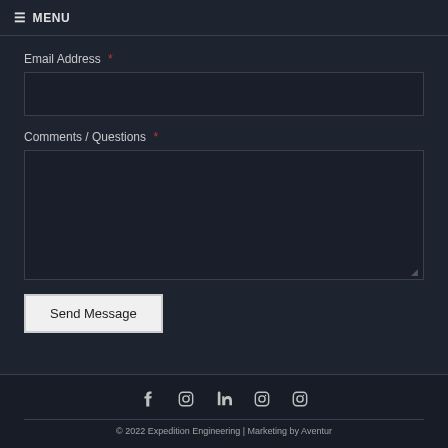☰ MENU
Email Address *
Comments / Questions *
Send Message
[Figure (other): Social media icons row: Facebook, Instagram, LinkedIn, Instagram, Instagram]
© 2022 Expedition Engineering | Marketing by Aventur